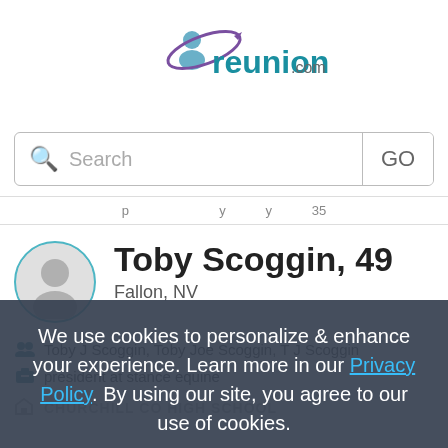[Figure (logo): reunion.com logo with stylized person icon and orbital ring above the text]
Search  GO
p  y  y  35
Toby Scoggin, 49
Fallon, NV
Toby J Scoggin, Toby Joe Scoggin, T J Scoggin
president at stance equine
CHURCHILL CO HIGH SCHOOL
We use cookies to personalize & enhance your experience. Learn more in our Privacy Policy. By using our site, you agree to our use of cookies.
Accept